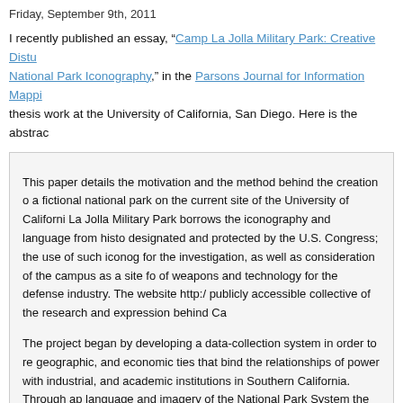Friday, September 9th, 2011
I recently published an essay, “Camp La Jolla Military Park: Creative Disturbance and National Park Iconography,” in the Parsons Journal for Information Mapping. It stems from thesis work at the University of California, San Diego. Here is the abstract:
This paper details the motivation and the method behind the creation of a fictional national park on the current site of the University of California. La Jolla Military Park borrows the iconography and language from historically designated and protected by the U.S. Congress; the use of such iconography for the investigation, as well as consideration of the campus as a site of weapons and technology for the defense industry. The website http:// publicly accessible collective of the research and expression behind Ca

The project began by developing a data-collection system in order to re geographic, and economic ties that bind the relationships of power with industrial, and academic institutions in Southern California. Through ap language and imagery of the National Park System the research was m audiences both within and outside of the protected spaces of art and ac introduces the concepts and processes of the project in order to encou similar creative disturbances.